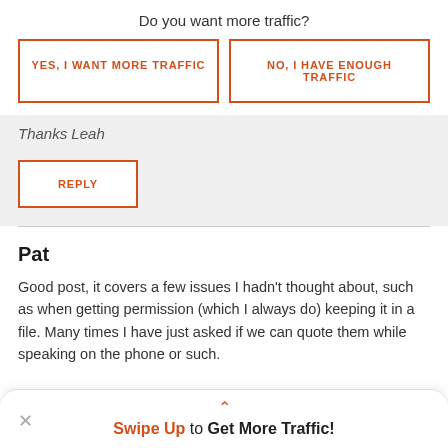Do you want more traffic?
YES, I WANT MORE TRAFFIC
NO, I HAVE ENOUGH TRAFFIC
Thanks Leah
REPLY
Pat
Good post, it covers a few issues I hadn't thought about, such as when getting permission (which I always do) keeping it in a file. Many times I have just asked if we can quote them while speaking on the phone or such.
Swipe Up to Get More Traffic!